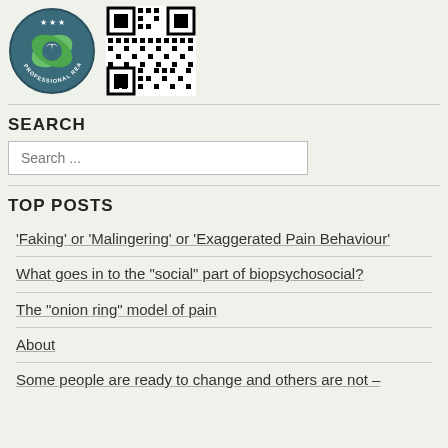[Figure (logo): Professional Reader circular badge logo with green arrow design]
[Figure (other): QR code square barcode]
SEARCH
Search ...
TOP POSTS
'Faking' or 'Malingering' or 'Exaggerated Pain Behaviour'
What goes in to the "social" part of biopsychosocial?
The "onion ring" model of pain
About
Some people are ready to change and others are not -